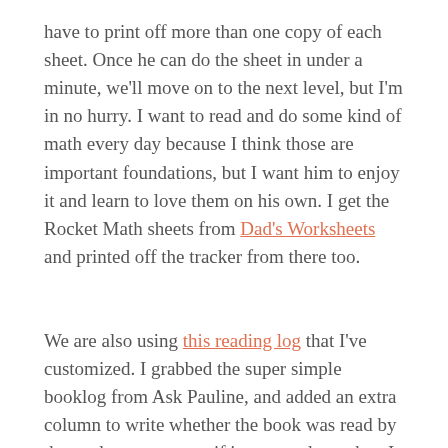have to print off more than one copy of each sheet. Once he can do the sheet in under a minute, we'll move on to the next level, but I'm in no hurry. I want to read and do some kind of math every day because I think those are important foundations, but I want him to enjoy it and learn to love them on his own. I get the Rocket Math sheets from Dad's Worksheets and printed off the tracker from there too.
We are also using this reading log that I've customized. I grabbed the super simple booklog from Ask Pauline, and added an extra column to write whether the book was read by the student, parent, or if it was read together. I will probably keep a general, undated list of all the books we read through out the year as well as a list of field trips we go on. This is our Attendance Calendar. All of these